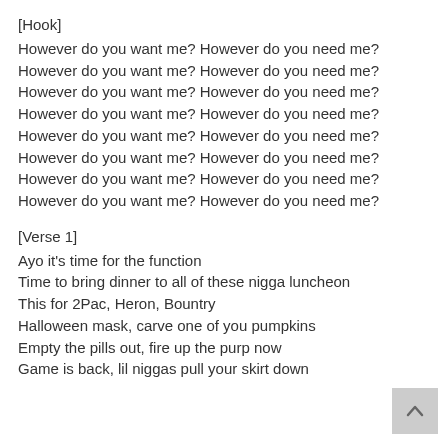[Hook]
However do you want me? However do you need me?
However do you want me? However do you need me?
However do you want me? However do you need me?
However do you want me? However do you need me?
However do you want me? However do you need me?
However do you want me? However do you need me?
However do you want me? However do you need me?
However do you want me? However do you need me?
[Verse 1]
Ayo it's time for the function
Time to bring dinner to all of these nigga luncheon
This for 2Pac, Heron, Bountry
Halloween mask, carve one of you pumpkins
Empty the pills out, fire up the purp now
Game is back, lil niggas pull your skirt down